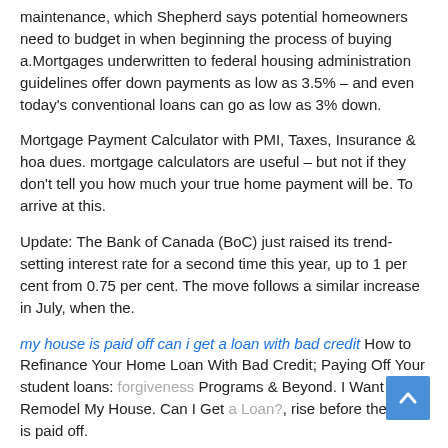maintenance, which Shepherd says potential homeowners need to budget in when beginning the process of buying a.Mortgages underwritten to federal housing administration guidelines offer down payments as low as 3.5% – and even today's conventional loans can go as low as 3% down.
Mortgage Payment Calculator with PMI, Taxes, Insurance & hoa dues. mortgage calculators are useful – but not if they don't tell you how much your true home payment will be. To arrive at this.
Update: The Bank of Canada (BoC) just raised its trend-setting interest rate for a second time this year, up to 1 per cent from 0.75 per cent. The move follows a similar increase in July, when the.
my house is paid off can i get a loan with bad credit How to Refinance Your Home Loan With Bad Credit; Paying Off Your student loans: forgiveness Programs & Beyond. I Want to Remodel My House. Can I Get a Loan?, rise before the loan is paid off.
The loan amount, the FHA loan limits in your county, the amount of the